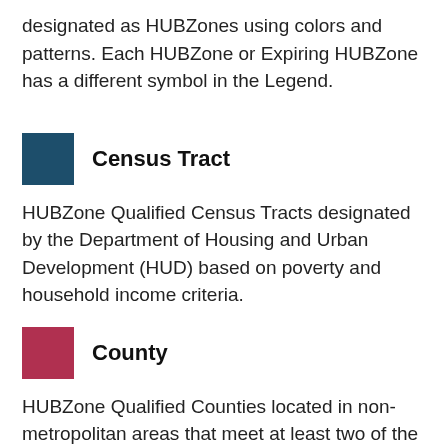designated as HUBZones using colors and patterns. Each HUBZone or Expiring HUBZone has a different symbol in the Legend.
[Figure (illustration): Dark teal/navy filled square legend symbol for Census Tract]
Census Tract
HUBZone Qualified Census Tracts designated by the Department of Housing and Urban Development (HUD) based on poverty and household income criteria.
[Figure (illustration): Dark red/crimson filled square legend symbol for County]
County
HUBZone Qualified Counties located in non-metropolitan areas that meet at least two of the socio-economic criteria: household income (Census Bureau), unemployment rate (Bureau of Labor